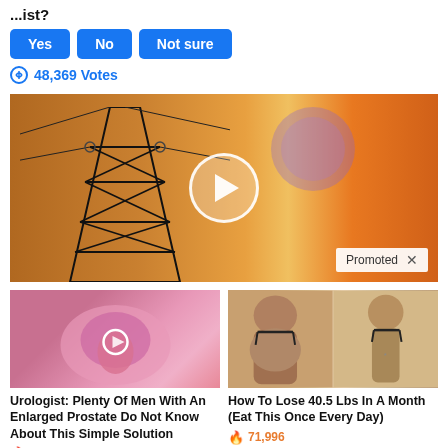...ist?
Yes
No
Not sure
48,369 Votes
[Figure (screenshot): Video thumbnail showing an electrical power transmission tower silhouetted against a dramatic orange and yellow sunset sky, with a large circular play button in the center and a 'Promoted X' badge in the bottom right corner.]
[Figure (photo): Medical illustration of prostate with a small play button overlay, promoting a urologist article.]
Urologist: Plenty Of Men With An Enlarged Prostate Do Not Know About This Simple Solution
2,354
[Figure (photo): Before and after photo of a woman showing weight loss results from the back, wearing black underwear.]
How To Lose 40.5 Lbs In A Month (Eat This Once Every Day)
71,996